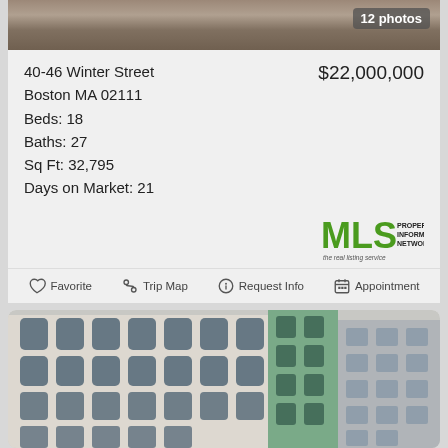[Figure (photo): Street-level photo of 40-46 Winter Street Boston property, showing pedestrians on sidewalk, partially visible at top of card]
12 photos
40-46 Winter Street
Boston MA 02111
Beds: 18
Baths: 27
Sq Ft: 32,795
Days on Market: 21
$22,000,000
[Figure (logo): MLS Property Information Network, Inc. logo — green MLS letters with tagline 'the real listing service']
Favorite   Trip Map   Request Info   Appointment
[Figure (photo): Exterior photo of multi-story urban building with arched windows, ornate facade, white/beige and green-accented buildings side by side in downtown Boston]